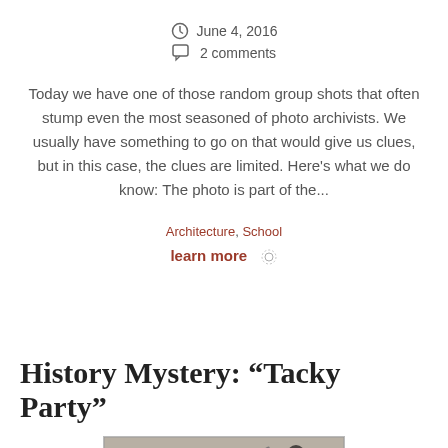June 4, 2016
2 comments
Today we have one of those random group shots that often stump even the most seasoned of photo archivists. We usually have something to go on that would give us clues, but in this case, the clues are limited. Here’s what we do know: The photo is part of the...
Architecture, School
learn more
History Mystery: “Tacky Party”
[Figure (photo): Black and white vintage group photo of people in costume or elaborate dress, likely at a tacky party. Multiple figures visible with decorative hats and period clothing.]